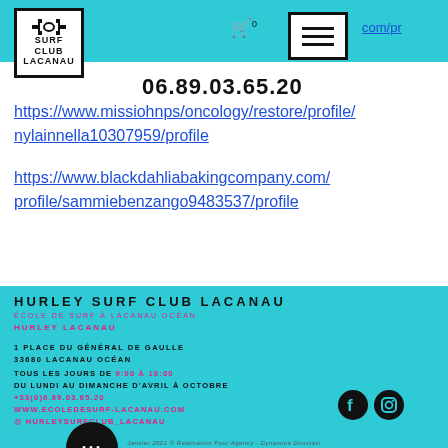[Figure (logo): Surf Club Lacanau logo with icon and text in bordered box]
06.89.03.65.20
https://www.missiohnps/oncology/restore/profile/nylainnella10307959/profile
https://www.blackdahliabakingcompany.com/profile/sammiebenzango9483537/profile
HURLEY SURF CLUB LACANAU
ÉCOLE DE SURF À LACANAU OCÉAN
HURLEY LACANAU
1 PLACE DU GÉNÉRAL DE GAULLE
33680 LACANAU OCÉAN
TOUS LES JOURS DE 9:00 À 19:00
DU LUNDI AU DIMANCHE D'AVRIL À OCTOBRE
+33(0)6.89.03.65.20
WWW.ECOLEDESURF-LACANAU.COM
@ HURLEYSURFCLUB_LACANAU
Janvier 2021 © Realisation Pour Agency - Dynamica Doustavi